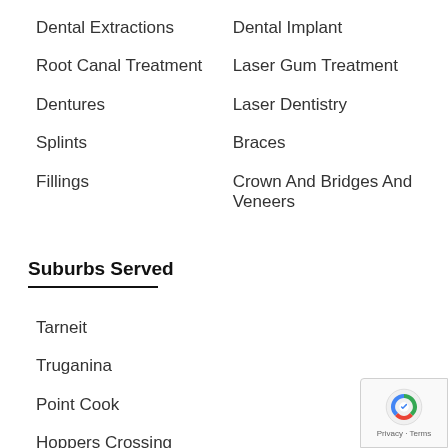Dental Extractions
Dental Implant
Root Canal Treatment
Laser Gum Treatment
Dentures
Laser Dentistry
Splints
Braces
Fillings
Crown And Bridges And Veneers
Suburbs Served
Tarneit
Truganina
Point Cook
Hoppers Crossing